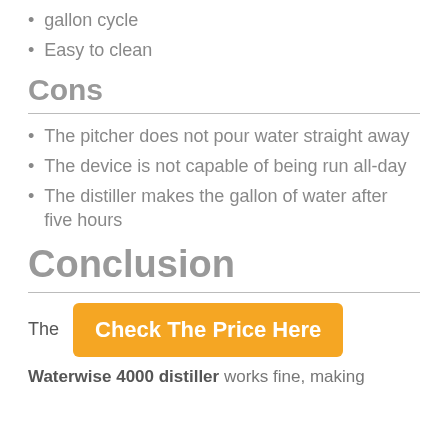gallon cycle
Easy to clean
Cons
The pitcher does not pour water straight away
The device is not capable of being run all-day
The distiller makes the gallon of water after five hours
Conclusion
The
Check The Price Here
Waterwise 4000 distiller works fine, making